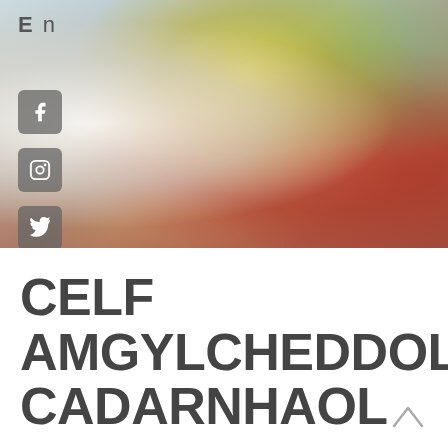En
[Figure (photo): Photograph of many colorful coiled yarn or textile bowls/baskets arranged on a surface, transitioning from white on the left to vibrant yellows, greens, oranges, and reds on the right. Facebook, Instagram, and Twitter social media icons overlaid on the left side.]
CELF AMGYLCHEDDOL CADARNHAOL